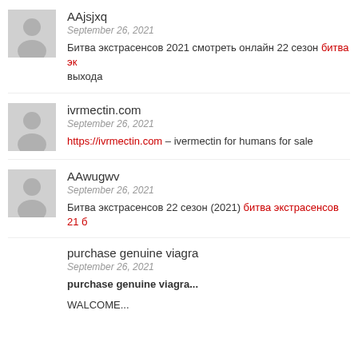AAjsjxq
September 26, 2021
Битва экстрасенсов 2021 смотреть онлайн 22 сезон битва эк... выхода
ivrmectin.com
September 26, 2021
https://ivrmectin.com – ivermectin for humans for sale
AAwugwv
September 26, 2021
Битва экстрасенсов 22 сезон (2021) битва экстрасенсов 21 б...
purchase genuine viagra
September 26, 2021
purchase genuine viagra...
WALCOME...